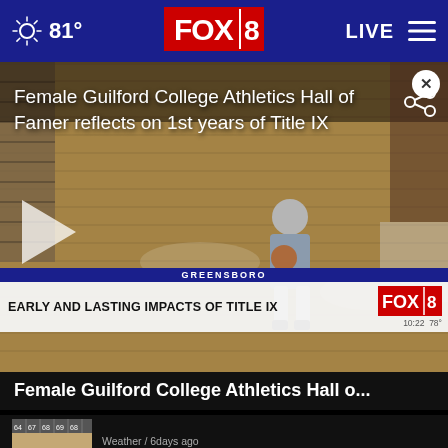81° FOX 8 LIVE
[Figure (screenshot): Video thumbnail showing a woman holding a basketball on a gym court with lower-third graphic reading GREENSBORO / EARLY AND LASTING IMPACTS OF TITLE IX with FOX 8 logo and time 10:22 78°]
Female Guilford College Athletics Hall of Famer reflects on 1st years of Title IX
Female Guilford College Athletics Hall o...
Weather / 6days ago